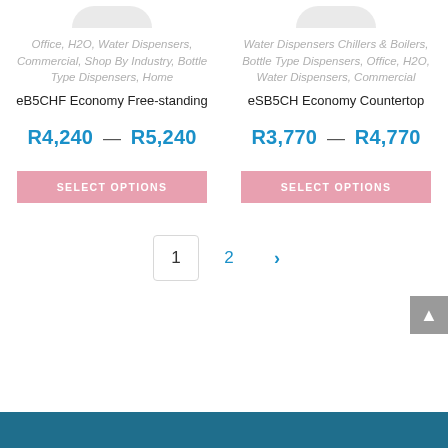Office, H2O, Water Dispensers, Commercial, Shop By Industry, Bottle Type Dispensers, Home
eB5CHF Economy Free-standing
R4,240 — R5,240
SELECT OPTIONS
Water Dispensers Chillers & Boilers, Bottle Type Dispensers, Office, H2O, Water Dispensers, Commercial
eSB5CH Economy Countertop
R3,770 — R4,770
SELECT OPTIONS
1  2  ›